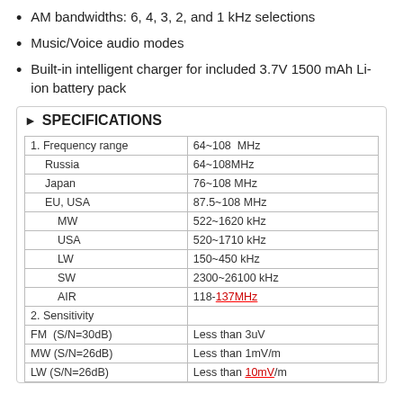AM bandwidths: 6, 4, 3, 2, and 1 kHz selections
Music/Voice audio modes
Built-in intelligent charger for included 3.7V 1500 mAh Li-ion battery pack
► SPECIFICATIONS
| 1. Frequency range | 64~108  MHz |
| Russia | 64~108MHz |
| Japan | 76~108 MHz |
| EU, USA | 87.5~108 MHz |
| MW | 522~1620 kHz |
| USA | 520~1710 kHz |
| LW | 150~450 kHz |
| SW | 2300~26100 kHz |
| AIR | 118-137MHz |
| 2. Sensitivity |  |
| FM  (S/N=30dB) | Less than 3uV |
| MW (S/N=26dB) | Less than 1mV/m |
| LW (S/N=26dB) | Less than 10mV/m |